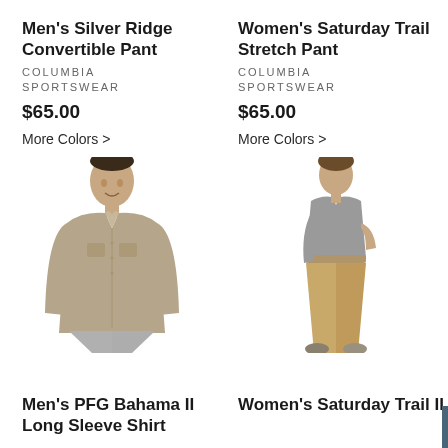Men's Silver Ridge Convertible Pant
COLUMBIA SPORTSWEAR
$65.00
More Colors >
Women's Saturday Trail Stretch Pant
COLUMBIA SPORTSWEAR
$65.00
More Colors >
[Figure (photo): Man wearing a tan/khaki Columbia PFG long sleeve shirt with chest pockets]
[Figure (photo): Woman wearing khaki Columbia Saturday Trail stretch pants with hiking shoes]
Men's PFG Bahama II Long Sleeve Shirt
Women's Saturday Trail II
UPCOMING CLASSES & EVENTS